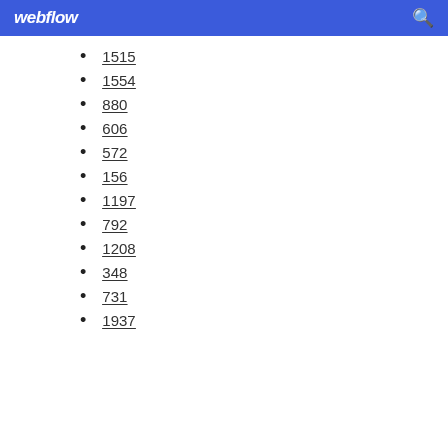webflow
1515
1554
880
606
572
156
1197
792
1208
348
731
1937